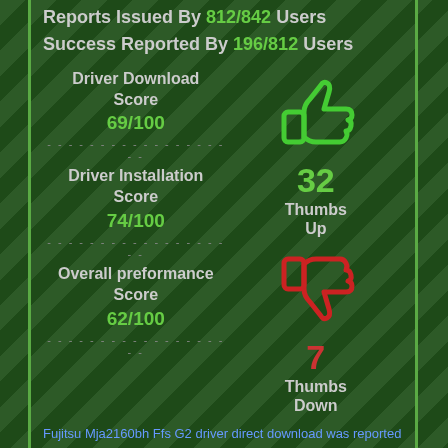Reports Issued By 812/842 Users
Success Reported By 196/812 Users
Driver Download Score
69/100
Driver Installation Score
74/100
Overall preformance Score
62/100
[Figure (illustration): Green thumbs up icon]
32
Thumbs Up
[Figure (illustration): Red thumbs down icon]
7
Thumbs Down
Fujitsu Mja2160bh Ffs G2 driver direct download was reported as adequate by a large percentage of our reporters, so it should be good to download and install.